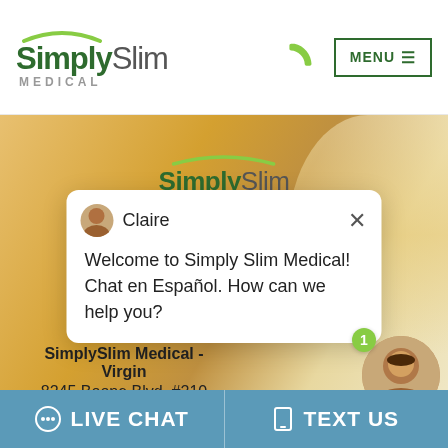[Figure (screenshot): SimplySlim Medical website header with logo showing 'SimplySlim MEDICAL' with green arc above, phone icon in green, and MENU button with hamburger icon on right]
[Figure (screenshot): Website background hero section with golden/orange warm tones, inner SimplySlim logo visible]
[Figure (screenshot): Live chat popup widget showing avatar of Claire, with message: 'Welcome to Simply Slim Medical! Chat en Español. How can we help you?' and X close button]
SimplySlim Medical - Virgin
8245 Boone Blvd. #210
Tysons, VA 22182
Phone: 703-997-1220
[Figure (screenshot): Online agent widget showing female agent photo with green online dot, notification badge showing '1', and 'Online Agent' label in green]
LIVE CHAT
TEXT US